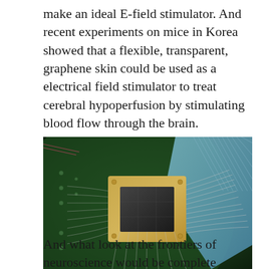make an ideal E-field stimulator. And recent experiments on mice in Korea showed that a flexible, transparent, graphene skin could be used as a electrical field stimulator to treat cerebral hypoperfusion by stimulating blood flow through the brain.
[Figure (photo): Close-up photograph of an electronic chip or integrated circuit mounted on a green circuit board, with fine silver leads or wire bonds extending from the gold-colored chip package. The background shows a blue-tinted flexible circuit or substrate.]
And what look at the frontiers of neuroscience would be complete without mentioning